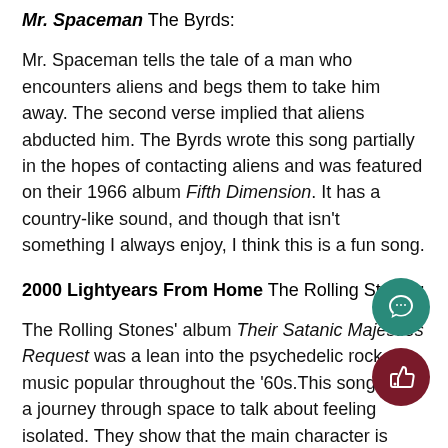Mr. Spaceman The Byrds:
Mr. Spaceman tells the tale of a man who encounters aliens and begs them to take him away. The second verse implied that aliens abducted him. The Byrds wrote this song partially in the hopes of contacting aliens and was featured on their 1966 album Fifth Dimension. It has a country-like sound, and though that isn't something I always enjoy, I think this is a fun song.
2000 Lightyears From Home The Rolling Stones:
The Rolling Stones' album Their Satanic Majesties Request was a lean into the psychedelic rock music popular throughout the '60s. This song uses a journey through space to talk about feeling isolated. They show that the main character is traveling further into space by increasing the distance of light-years from home in each verse. Although a departure from their typical bluesier sound, 2000 Lightyears from Home is a example of their musical talent and the early Rolling Stones.
'39 Queen:
Written and sung by guitarist Brian May, '39 depicts the story of a